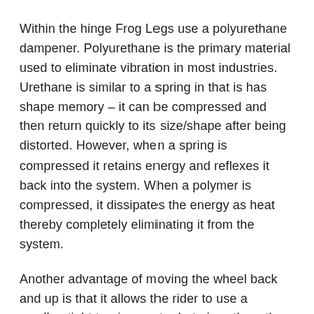Within the hinge Frog Legs use a polyurethane dampener. Polyurethane is the primary material used to eliminate vibration in most industries. Urethane is similar to a spring in that is has shape memory – it can be compressed and then return quickly to its size/shape after being distorted. However, when a spring is compressed it retains energy and reflexes it back into the system. When a polymer is compressed, it dissipates the energy as heat thereby completely eliminating it from the system.
Another advantage of moving the wheel back and up is that it allows the rider to use a smaller, tight turning caster but gives them the advantage of a larger wheel to roll over obstructions. Obstructions stop a small wheel because they hit it at a higher